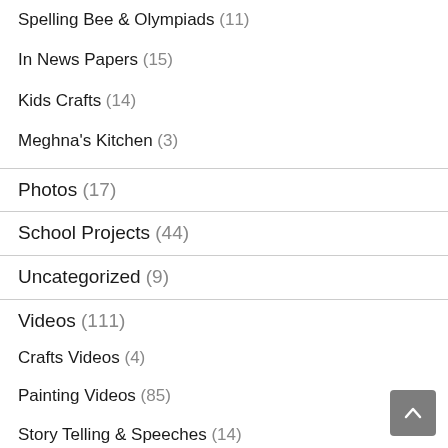Spelling Bee & Olympiads (11)
In News Papers (15)
Kids Crafts (14)
Meghna's Kitchen (3)
Photos (17)
School Projects (44)
Uncategorized (9)
Videos (111)
Crafts Videos (4)
Painting Videos (85)
Story Telling & Speeches (14)
Travel & Tour Videos (1)